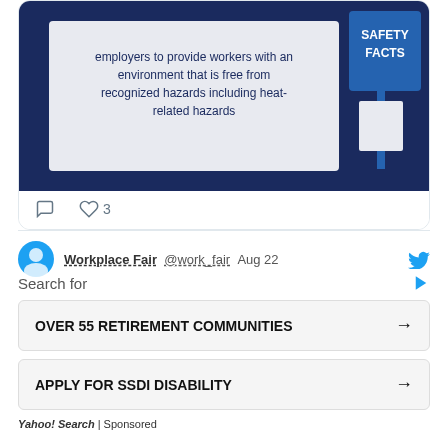[Figure (screenshot): Partial screenshot of a tweet showing an infographic with dark blue background and text about employers providing workers with an environment free from recognized hazards including heat-related hazards, with a 'Safety Facts' sign graphic. Below the image are tweet action icons: comment bubble and heart with count 3.]
[Figure (screenshot): Partial next tweet row showing a circular avatar (blue), partially visible username 'Workplace Fair', handle '@work_fair', date 'Aug 22', and Twitter bird icon.]
Search for
OVER 55 RETIREMENT COMMUNITIES →
APPLY FOR SSDI DISABILITY →
Yahoo! Search | Sponsored